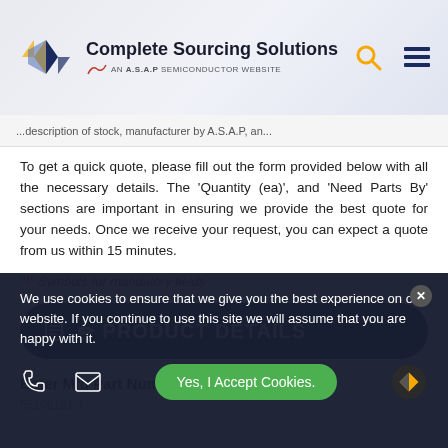[Figure (logo): Complete Sourcing Solutions logo — diamond shape with gold and navy colors, AN A.S.A.P SEMICONDUCTOR WEBSITE tagline]
...description of stock, manufacturer by A.S.A.P, an...
To get a quick quote, please fill out the form provided below with all the necessary details. The 'Quantity (ea)', and 'Need Parts By' sections are important in ensuring we provide the best quote for your needs. Once we receive your request, you can expect a quote from us within 15 minutes.
"*" Symbols for mandatory fields
PRODUCT DETAILS
Enter Mfg Part Number *
53100191-1
We use cookies to ensure that we give you the best experience on our website. If you continue to use this site we will assume that you are happy with it.
Yes, I Accept Cookies.